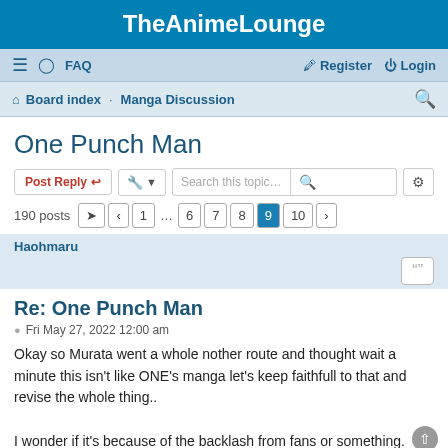TheAnimeLounge
≡  FAQ    Register  Login
Board index · Manga Discussion
One Punch Man
190 posts  1 ... 6 7 8 9 10
Haohmaru
Re: One Punch Man
Fri May 27, 2022 12:00 am
Okay so Murata went a whole nother route and thought wait a minute this isn't like ONE's manga let's keep faithfull to that and revise the whole thing..

I wonder if it's because of the backlash from fans or something.
Colon034